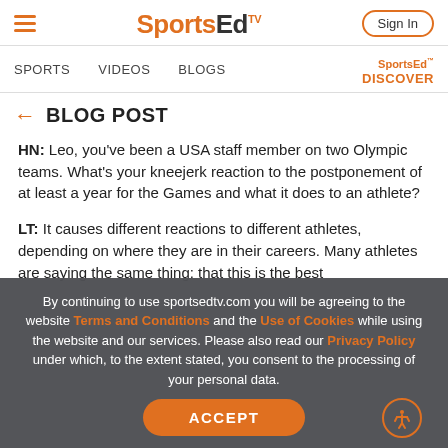SportsEdTV — Sign In
SPORTS   VIDEOS   BLOGS   SportsEd™ DISCOVER
← BLOG POST
HN: Leo, you've been a USA staff member on two Olympic teams. What's your kneejerk reaction to the postponement of at least a year for the Games and what it does to an athlete?
LT: It causes different reactions to different athletes, depending on where they are in their careers. Many athletes are saying the same thing: that this is the best
By continuing to use sportsedtv.com you will be agreeing to the website Terms and Conditions and the Use of Cookies while using the website and our services. Please also read our Privacy Policy under which, to the extent stated, you consent to the processing of your personal data.
ACCEPT